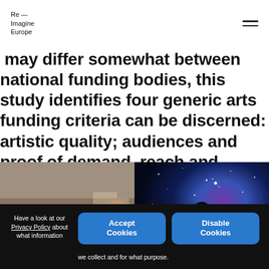Re—Imagine Europe
may differ somewhat between national funding bodies, this study identifies four generic arts funding criteria can be discerned: artistic quality; audiences and proof of demand, reach and access; viability; and market development.
[Figure (photo): Two side-by-side photos: left shows people at an event networking/talking; right shows a silhouette of a person in front of a colorful galaxy/space display]
Have a look at our Privacy Policy about what information we collect and for what purpose.
Accept Cookies
Disable Cookies